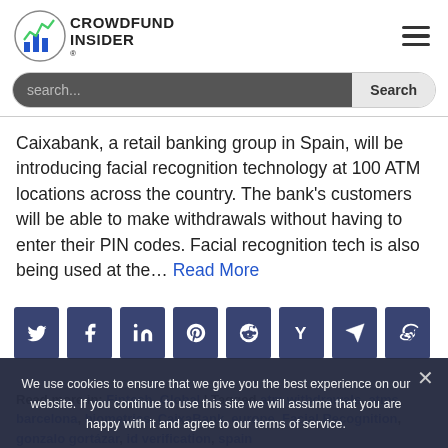Crowdfund Insider
Caixabank, a retail banking group in Spain, will be introducing facial recognition technology at 100 ATM locations across the country. The bank's customers will be able to make withdrawals without having to enter their PIN codes. Facial recognition tech is also being used at the… Read More
[Figure (other): Social sharing buttons: Twitter, Facebook, LinkedIn, Pinterest, Reddit, Hacker News (Y), Telegram, Weibo]
We use cookies to ensure that we give you the best experience on our website. If you continue to use this site we will assume that you are happy with it and agree to our terms of service.
Read more in: Fintech, Global | Tagged atm withdrawals, atms, barcelona, biometrics, CaixaBank, europe, Facial Recognition, gonzalo gortázar, id verification, spain